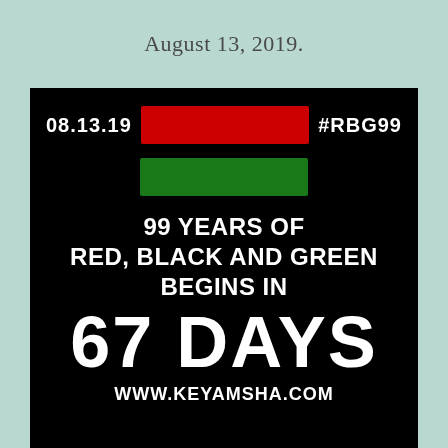August 13, 2019.
[Figure (infographic): Black background promotional graphic with date 08.13.19, red and green horizontal bars, hashtag #RBG99, text '99 YEARS OF RED, BLACK AND GREEN BEGINS IN 67 DAYS', and URL WWW.KEYAMSHA.COM]
08.13.19   #RBG99
99 YEARS OF RED, BLACK AND GREEN BEGINS IN
67 DAYS
WWW.KEYAMSHA.COM